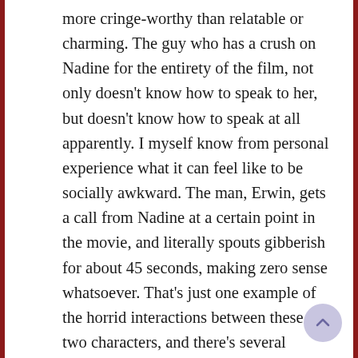more cringe-worthy than relatable or charming. The guy who has a crush on Nadine for the entirety of the film, not only doesn't know how to speak to her, but doesn't know how to speak at all apparently. I myself know from personal experience what it can feel like to be socially awkward. The man, Erwin, gets a call from Nadine at a certain point in the movie, and literally spouts gibberish for about 45 seconds, making zero sense whatsoever. That's just one example of the horrid interactions between these two characters, and there's several others throughout the movie. I don't know if the filmmakers and screenwriters have ever been in an awkward situation, but it doesn't seem like they have been.